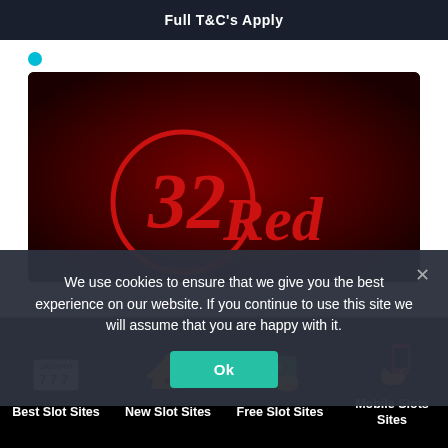Full T&C's Apply
[Figure (logo): 32Red casino logo on dark red background]
We use cookies to ensure that we give you the best experience on our website. If you continue to use this site we will assume that you are happy with it.
Ok
Best Slot Sites
New Slot Sites
Free Slot Sites
Mobile Slots Sites